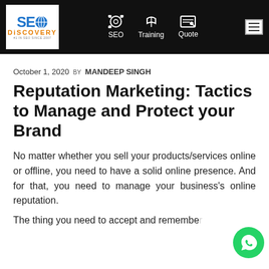SEO Discovery | SEO | Training | Quote
October 1, 2020 by MANDEEP SINGH
Reputation Marketing: Tactics to Manage and Protect your Brand
No matter whether you sell your products/services online or offline, you need to have a solid online presence. And for that, you need to manage your business's online reputation.
The thing you need to accept and remember